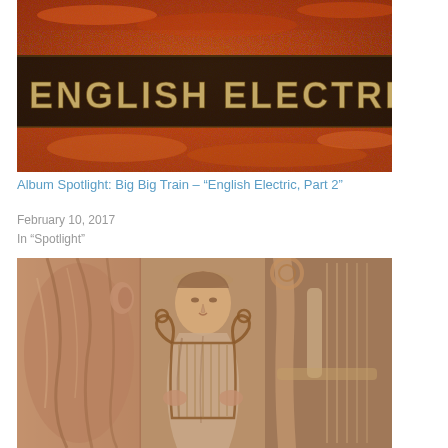[Figure (photo): Album cover art for Big Big Train English Electric Part 2 - rusty orange textured metal surface with embossed text reading ENGLISH ELECTRIC]
Album Spotlight: Big Big Train – “English Electric, Part 2”
February 10, 2017
In “Spotlight”
[Figure (photo): Album artwork showing a classical Roman or Greek figure holding a lyre, depicted in a warm terracotta and sepia illustration style, split into three panels]